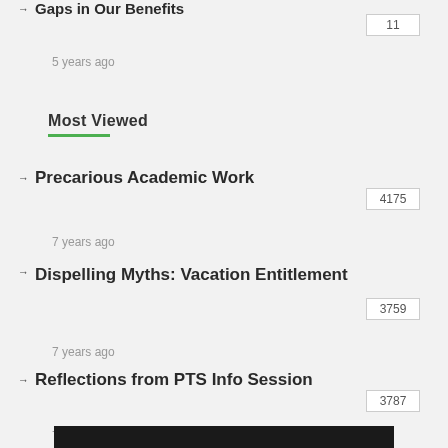→ Gaps in Our Benefits
11
5 years ago
Most Viewed
→ Precarious Academic Work
4175
7 years ago
→ Dispelling Myths: Vacation Entitlement
3759
7 years ago
→ Reflections from PTS Info Session
3787
7 years ago